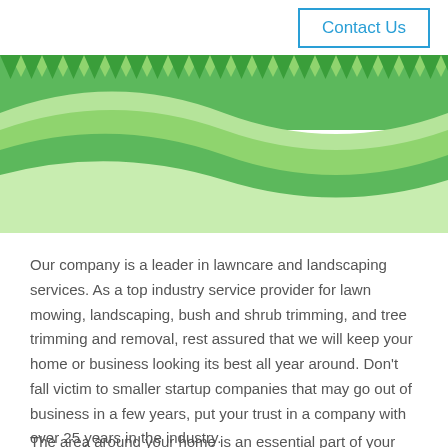Contact Us
[Figure (illustration): Decorative green banner with diamond/triangle zigzag pattern at top and wavy green hills below, forming a landscape header graphic]
Our company is a leader in lawncare and landscaping services. As a top industry service provider for lawn mowing, landscaping, bush and shrub trimming, and tree trimming and removal, rest assured that we will keep your home or business looking its best all year around. Don’t fall victim to smaller startup companies that may go out of business in a few years, put your trust in a company with over 25 years in the industry.
The area around your home is an essential part of your living environment. Attractively and functionally